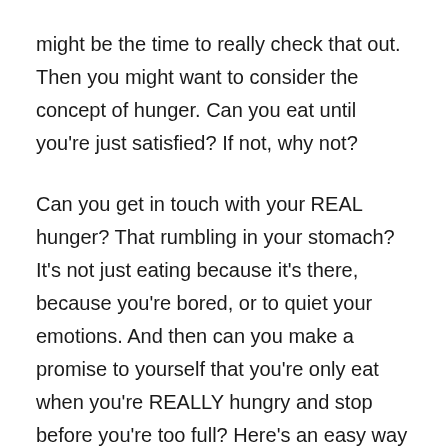might be the time to really check that out. Then you might want to consider the concept of hunger. Can you eat until you're just satisfied? If not, why not?
Can you get in touch with your REAL hunger? That rumbling in your stomach? It's not just eating because it's there, because you're bored, or to quiet your emotions. And then can you make a promise to yourself that you're only eat when you're REALLY hungry and stop before you're too full? Here's an easy way to do that. Every time you eat, rate your hunger on a scale of 0 to 10. Start eating at about a 3 or 4 and stop at a 6 or 7 on this